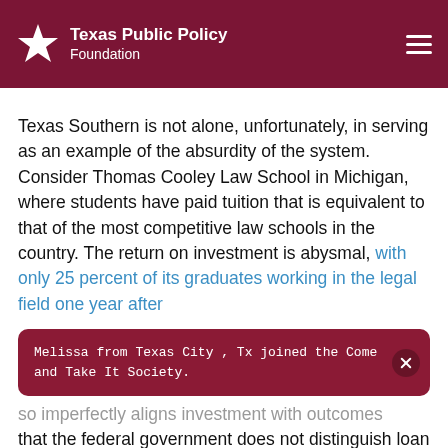Texas Public Policy Foundation
Texas Southern is not alone, unfortunately, in serving as an example of the absurdity of the system. Consider Thomas Cooley Law School in Michigan, where students have paid tuition that is equivalent to that of the most competitive law schools in the country. The return on investment is abysmal, with only 25 percent of its graduates working in the legal field one year after
Melissa from Texas City , Tx joined the Come and Take It Society.
so imperfectly aligns investment with outcomes that the federal government does not distinguish loan risk between Cooley Law and law schools with far better employment records.